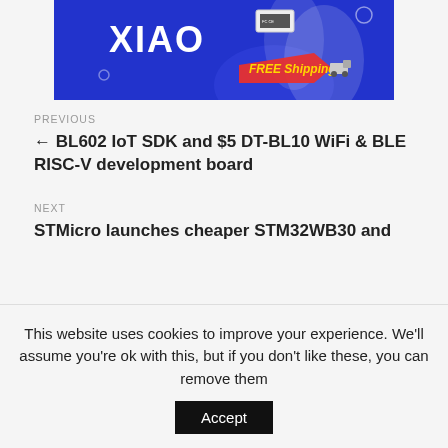[Figure (illustration): Blue promotional banner with XIAO text, a microcontroller board with CE/FCC markings, and a red 'FREE Shipping' badge with truck icon]
PREVIOUS
← BL602 IoT SDK and $5 DT-BL10 WiFi & BLE RISC-V development board
NEXT
STMicro launches cheaper STM32WB30 and
This website uses cookies to improve your experience. We'll assume you're ok with this, but if you don't like these, you can remove them